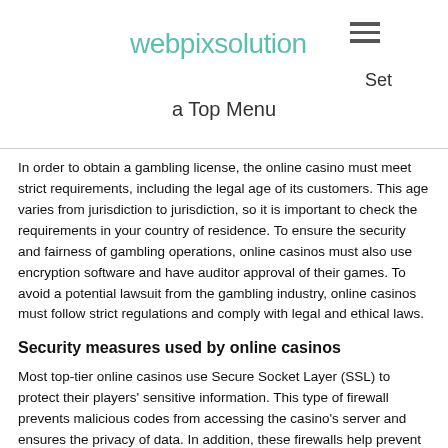webpixsolution  Set  a Top Menu
In order to obtain a gambling license, the online casino must meet strict requirements, including the legal age of its customers. This age varies from jurisdiction to jurisdiction, so it is important to check the requirements in your country of residence. To ensure the security and fairness of gambling operations, online casinos must also use encryption software and have auditor approval of their games. To avoid a potential lawsuit from the gambling industry, online casinos must follow strict regulations and comply with legal and ethical laws.
Security measures used by online casinos
Most top-tier online casinos use Secure Socket Layer (SSL) to protect their players' sensitive information. This type of firewall prevents malicious codes from accessing the casino's server and ensures the privacy of data. In addition, these firewalls help prevent